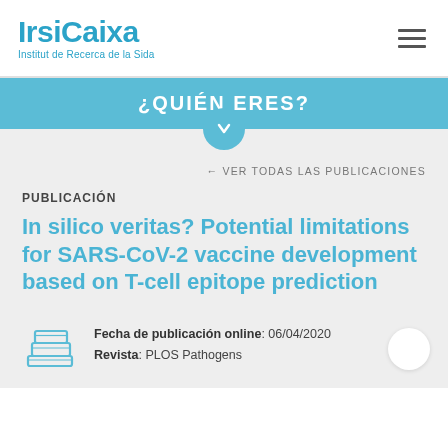IrsiCaixa — Institut de Recerca de la Sida
¿QUIÉN ERES?
← VER TODAS LAS PUBLICACIONES
PUBLICACIÓN
In silico veritas? Potential limitations for SARS-CoV-2 vaccine development based on T-cell epitope prediction
Fecha de publicación online: 06/04/2020
Revista: PLOS Pathogens